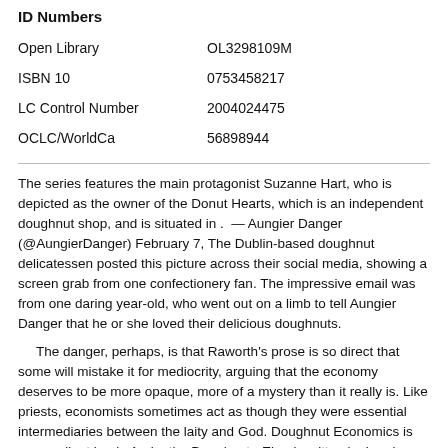ID Numbers
|  |  |
| --- | --- |
| Open Library | OL3298109M |
| ISBN 10 | 0753458217 |
| LC Control Number | 2004024475 |
| OCLC/WorldCa | 56898944 |
The series features the main protagonist Suzanne Hart, who is depicted as the owner of the Donut Hearts, which is an independent doughnut shop, and is situated in .  — Aungier Danger (@AungierDanger) February 7, The Dublin-based doughnut delicatessen posted this picture across their social media, showing a screen grab from one confectionery fan. The impressive email was from one daring year-old, who went out on a limb to tell Aungier Danger that he or she loved their delicious doughnuts.
The danger, perhaps, is that Raworth's prose is so direct that some will mistake it for mediocrity, arguing that the economy deserves to be more opaque, more of a mystery than it really is. Like priests, economists sometimes act as though they were essential intermediaries between the laity and God. Doughnut Economics is an excellent book. Arnie, the Doughnut - Ebook written by Laurie Keller. Read this book using Google Play Books app on your PC, android, iOS devices. Download for offline reading, highlight, bookmark or take notes while you read Arnie, the Doughnut/5(17).